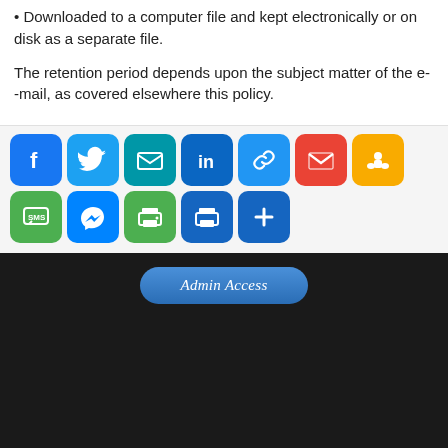• Downloaded to a computer file and kept electronically or on disk as a separate file.
The retention period depends upon the subject matter of the e--mail, as covered elsewhere this policy.
[Figure (other): Social media sharing buttons row: Facebook, Twitter, Email, LinkedIn, Link, Gmail, Google Classroom, SMS, Messenger, Print, Print, and a plus/more button]
[Figure (other): Dark footer area with an Admin Access button styled with blue gradient and italic serif text]